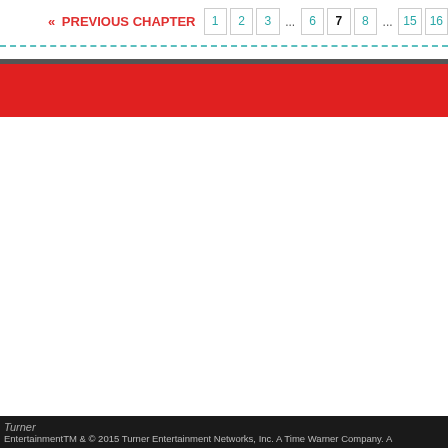« PREVIOUS CHAPTER  1  2  3  ...  6  7  8  ...  15  16
[Figure (other): Red and dark grey banner/header bar]
Turner EntertainmentTM & © 2015 Turner Entertainment Networks, Inc. A Time Warner Company. A